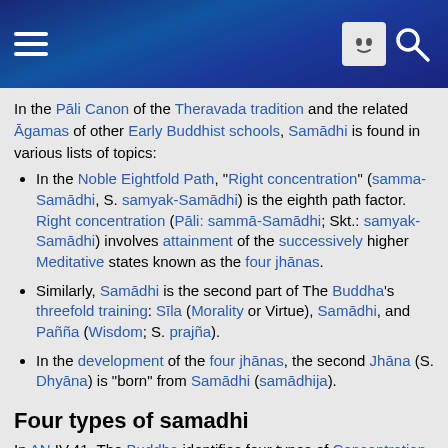Wikipedia mobile header with hamburger menu and search icon
In the Pāli Canon of the Theravada tradition and the related Āgamas of other Early Buddhist schools, Samādhi is found in various lists of topics:
In the Noble Eightfold Path, "Right concentration" (samma-Samādhi, S. samyak-Samādhi) is the eighth path factor. Right concentration (Pāli: sammā-Samādhi; Skt.: samyak-Samādhi) involves attainment of the successively higher Meditative states known as the four jhānas.
Similarly, Samādhi is the second part of The Buddha's threefold training: Sīla (Morality or Virtue), Samādhi, and Pañña (Wisdom; S. prajña).
In the development of the four jhānas, the second Jhāna (S. Dhyāna) is "born" from Samādhi (samādhija).
Four types of samadhi
In AN IV.41, The Buddha identifies four types of Concentration development, each with a different goal: